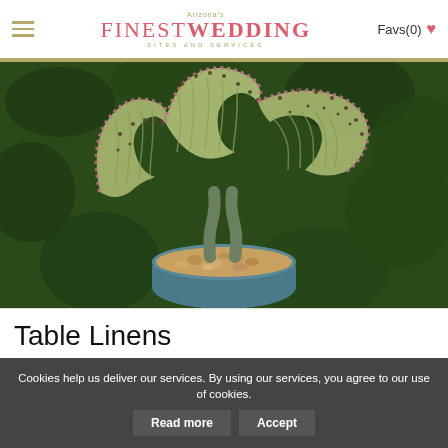Arizona's FinestWedding Sites and Services — Favs(0)
[Figure (photo): Close-up photo of a crested cactus (likely Euphorbia lactea crested) with fan-shaped, wavy, pale green succulent fans edged in pink/purple, growing from a pot filled with gravel, set against dark green foliage background.]
Table Linens
Cookies help us deliver our services. By using our services, you agree to our use of cookies.
Read more  Accept